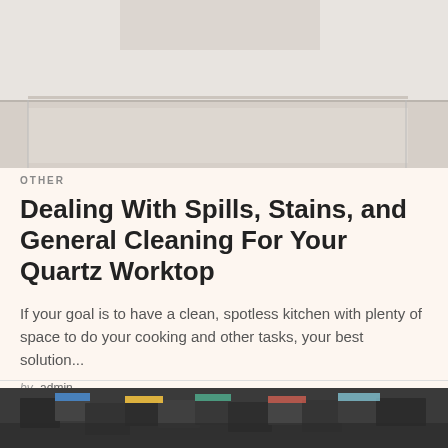[Figure (photo): Top portion of a photo showing a light-colored quartz worktop or kitchen surface with a person partially visible in the background]
OTHER
Dealing With Spills, Stains, and General Cleaning For Your Quartz Worktop
If your goal is to have a clean, spotless kitchen with plenty of space to do your cooking and other tasks, your best solution...
by admin
[Figure (photo): Photo showing a pile of many small dark colored product boxes or packages stacked together, some with colorful labels]